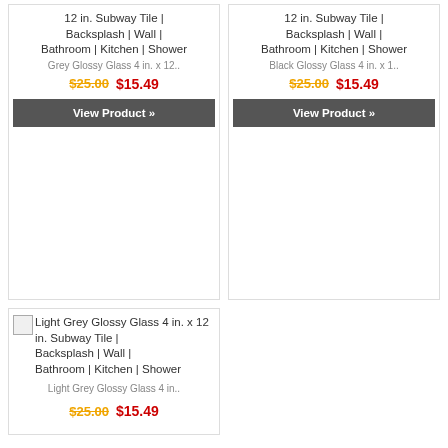12 in. Subway Tile | Backsplash | Wall | Bathroom | Kitchen | Shower
Grey Glossy Glass 4 in. x 12..
$25.00  $15.49
View Product »
12 in. Subway Tile | Backsplash | Wall | Bathroom | Kitchen | Shower
Black Glossy Glass 4 in. x 1..
$25.00  $15.49
View Product »
[Figure (photo): Light Grey Glossy Glass 4 in. x 12 in. Subway Tile product image placeholder]
Light Grey Glossy Glass 4 in. x 12 in. Subway Tile | Backsplash | Wall | Bathroom | Kitchen | Shower
Light Grey Glossy Glass 4 in..
$25.00  $15.49